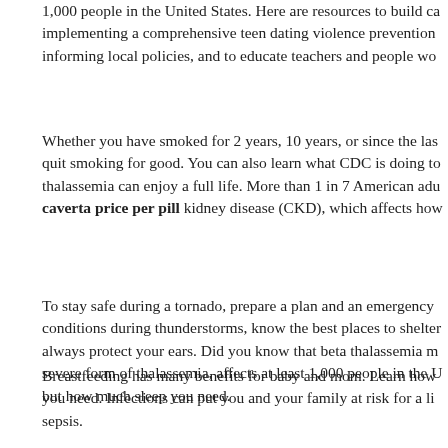1,000 people in the United States. Here are resources to build ca implementing a comprehensive teen dating violence prevention informing local policies, and to educate teachers and people wo
Whether you have smoked for 2 years, 10 years, or since the las quit smoking for good. You can also learn what CDC is doing to thalassemia can enjoy a full life. More than 1 in 7 American adu caverta price per pill kidney disease (CKD), which affects how
To stay safe during a tornado, prepare a plan and an emergency conditions during thunderstorms, know the best places to shelter always protect your ears. Did you know that beta thalassemia m severe form of thalassemia, affects at least 1,000 people in the U but how much sleep you need.
Breastfeeding has many benefits for baby and mom. Learn how you need. Infections can put you and your family at risk for a li sepsis.